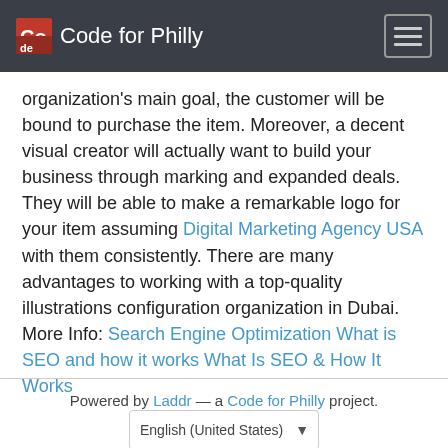Code for Philly
organization's main goal, the customer will be bound to purchase the item. Moreover, a decent visual creator will actually want to build your business through marking and expanded deals. They will be able to make a remarkable logo for your item assuming Digital Marketing Agency USA with them consistently. There are many advantages to working with a top-quality illustrations configuration organization in Dubai. More Info: Search Engine Optimization What is SEO and how it works What Is SEO & How It Works
Powered by Laddr — a Code for Philly project.
English (United States)